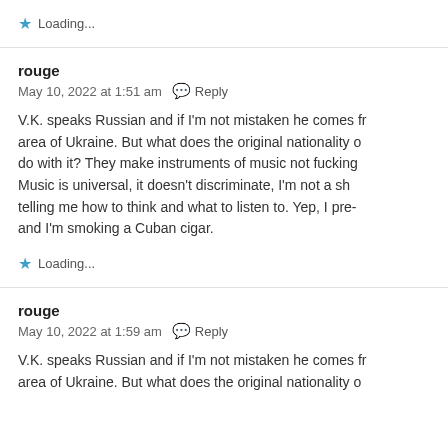★ Loading...
rouge
May 10, 2022 at 1:51 am   Reply
V.K. speaks Russian and if I'm not mistaken he comes fr... area of Ukraine. But what does the original nationality o... do with it? They make instruments of music not fucking... Music is universal, it doesn't discriminate, I'm not a sh... telling me how to think and what to listen to. Yep, I pre-... and I'm smoking a Cuban cigar.
★ Loading...
rouge
May 10, 2022 at 1:59 am   Reply
V.K. speaks Russian and if I'm not mistaken he comes fr... area of Ukraine. But what does the original nationality o...